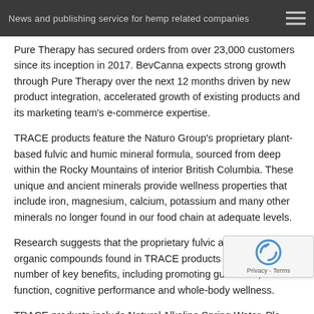News and publishing service for hemp related companies
Pure Therapy has secured orders from over 23,000 customers since its inception in 2017. BevCanna expects strong growth through Pure Therapy over the next 12 months driven by new product integration, accelerated growth of existing products and its marketing team's e-commerce expertise.
TRACE products feature the Naturo Group's proprietary plant-based fulvic and humic mineral formula, sourced from deep within the Rocky Mountains of interior British Columbia. These unique and ancient minerals provide wellness properties that include iron, magnesium, calcium, potassium and many other minerals no longer found in our food chain at adequate levels.
Research suggests that the proprietary fulvic and humic organic compounds found in TRACE products could offer a number of key benefits, including promoting gut health, immune function, cognitive performance and whole-body wellness.
TRACE products include Natural Alkaline Spring Water, Plant Mineralized Spring Water, Natural Flavor Sparkling Spring Water,